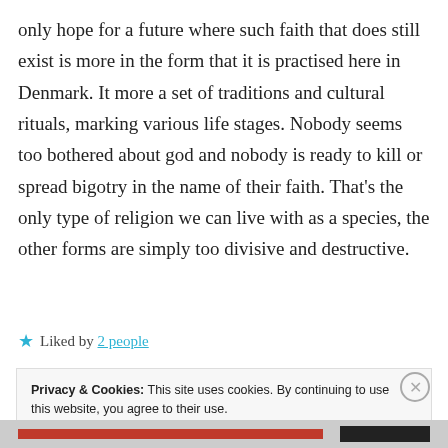only hope for a future where such faith that does still exist is more in the form that it is practised here in Denmark. It more a set of traditions and cultural rituals, marking various life stages. Nobody seems too bothered about god and nobody is ready to kill or spread bigotry in the name of their faith. That’s the only type of religion we can live with as a species, the other forms are simply too divisive and destructive.
★ Liked by 2 people
Privacy & Cookies: This site uses cookies. By continuing to use this website, you agree to their use. To find out more, including how to control cookies, see here: Cookie Policy
Close and accept